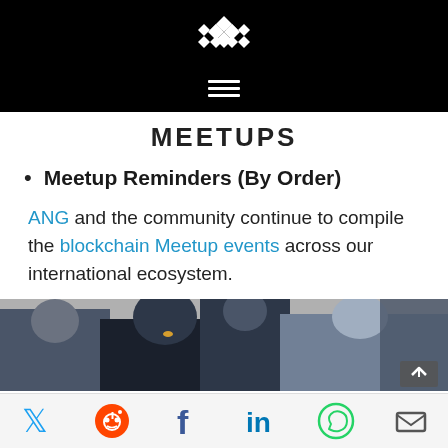MEETUPS
Meetup Reminders (By Order)
ANG and the community continue to compile the blockchain Meetup events across our international ecosystem.
[Figure (photo): Group of people sitting together at a meetup event, viewed from slightly above]
Social share icons: Twitter, Reddit, Facebook, LinkedIn, WhatsApp, Email